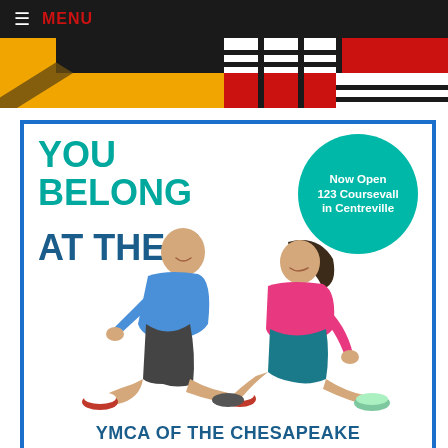≡ MENU
[Figure (photo): Maryland state flag and another flag (red, white, black) side by side as a banner image]
[Figure (infographic): YMCA of the Chesapeake advertisement. White background with blue border. Large teal text reads 'YOU BELONG' and dark blue text reads 'AT THE Y'. A teal circular bubble in the top right reads 'Now Open 123 Coursevall in Centreville'. Two people (a bald man in blue shirt and a woman in pink) are shown stretching/sitting on the floor. At the bottom in dark blue: 'YMCA OF THE CHESAPEAKE'.]